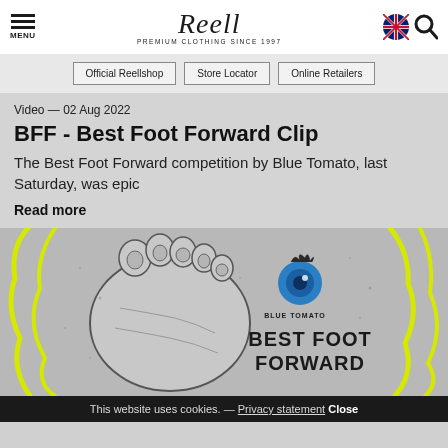MENU | Reell - PREMIUM CLOTHING SINCE 1997
Official Reellshop | Store Locator | Online Retailers
Video — 02 Aug 2022
BFF - Best Foot Forward Clip
The Best Foot Forward competition by Blue Tomato, last Saturday, was epic
Read more
[Figure (illustration): Blue Tomato Best Foot Forward illustration showing a foot sole with yellow graffiti-style outline and Blue Tomato logo with tomato eyeball graphic]
This website uses cookies. — Privacy statement Close